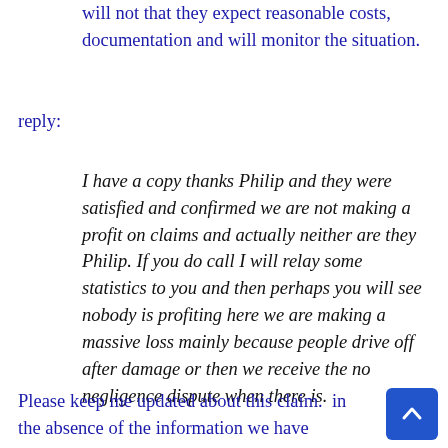will not that they expect reasonable costs, documentation and will monitor the situation.
reply:
I have a copy thanks Philip and they were satisfied and confirmed we are not making a profit on claims and actually neither are they Philip. If you do call I will relay some statistics to you and then perhaps you will see nobody is profiting here we are making a massive loss mainly because people drive off after damage or then we receive the no negligence dispute when there is.
Please keep me updated about this claim.  in the absence of the information we have sought by